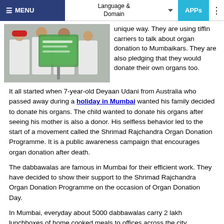≡ MENU   Language & Domain   APPs
[Figure (photo): People in white clothing standing in front of a green sign/banner related to organ donation.]
unique way. They are using tiffin carriers to talk about organ donation to Mumbaikars. They are also pledging that they would donate their own organs too.
It all started when 7-year-old Deyaan Udani from Australia who passed away during a holiday in Mumbai wanted his family decided to donate his organs. The child wanted to donate his organs after seeing his mother is also a donor. His selfless behavior led to the start of a movement called the Shrimad Rajchandra Organ Donation Programme. It is a public awareness campaign that encourages organ donation after death.
The dabbawalas are famous in Mumbai for their efficient work. They have decided to show their support to the Shrimad Rajchandra Organ Donation Programme on the occasion of Organ Donation Day.
In Mumbai, everyday about 5000 dabbawalas carry 2 lakh lunchboxes of home cooked meals to offices across the city.